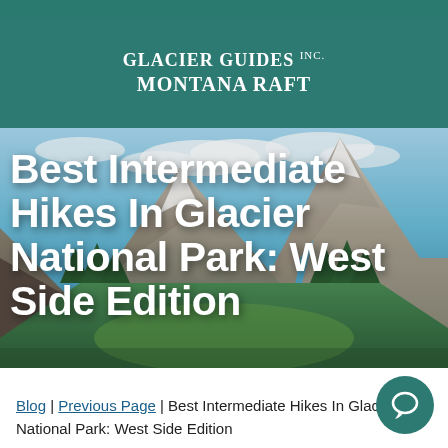Glacier Guides Inc. Montana Raft
[Figure (photo): Scenic mountain landscape in Glacier National Park with blue sky, rocky peaks, green forested valley, and glacial scenery.]
Best Intermediate Hikes In Glacier National Park: West Side Edition
Blog | Previous Page | Best Intermediate Hikes In Glacier National Park: West Side Edition